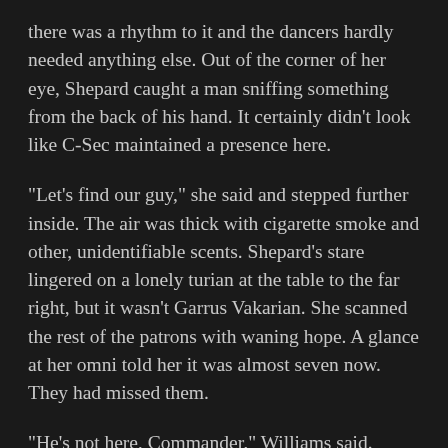there was a rhythm to it and the dancers hardly needed anything else. Out of the corner of her eye, Shepard caught a man sniffing something from the back of his hand. It certainly didn't look like C-Sec maintained a presence here.
“Let’s find our guy,” she said and stepped further inside. The air was thick with cigarette smoke and other, unidentifiable scents. Shepard’s stare lingered on a lonely turian at the table to the far right, but it wasn’t Garrus Vakarian. She scanned the rest of the patrons with waning hope. A glance at her omni told her it was almost seven now. They had missed them.
“He’s not here, Commander,” Williams said.
“Neither of them.”
“Maybe they’re in the back?” said Alenko. And indeed, there was a dark passage leading off to the